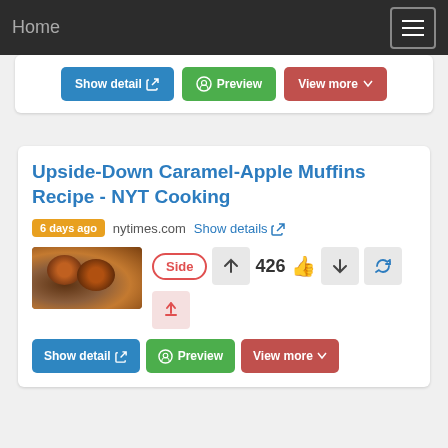Home
Upside-Down Caramel-Apple Muffins Recipe - NYT Cooking
6 days ago  nytimes.com  Show details
Side  426
[Figure (photo): Photo of upside-down caramel apple muffins on a plate]
Show detail  Preview  View more